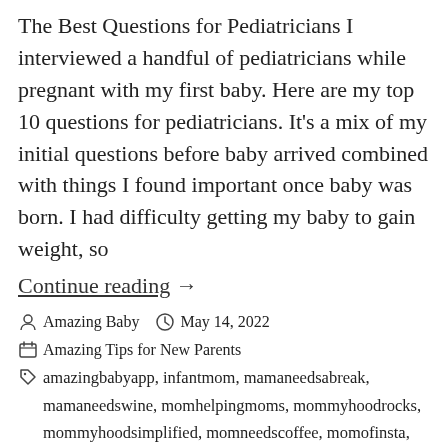The Best Questions for Pediatricians I interviewed a handful of pediatricians while pregnant with my first baby. Here are my top 10 questions for pediatricians. It's a mix of my initial questions before baby arrived combined with things I found important once baby was born. I had difficulty getting my baby to gain weight, so
Continue reading  →
By Amazing Baby   May 14, 2022
Amazing Tips for New Parents
amazingbabyapp, infantmom, mamaneedsabreak, mamaneedswine, momhelpingmoms, mommyhoodrocks, mommyhoodsimplified, momneedscoffee, momofinsta, momsandmamas, mumofinstagram, newbornmom, newborntips, overwhelmedmom, parentinghack, parentinghelp, parentingishard, parentingproblems,